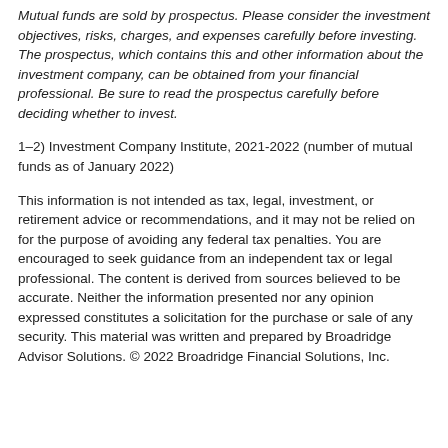Mutual funds are sold by prospectus. Please consider the investment objectives, risks, charges, and expenses carefully before investing. The prospectus, which contains this and other information about the investment company, can be obtained from your financial professional. Be sure to read the prospectus carefully before deciding whether to invest.
1–2) Investment Company Institute, 2021-2022 (number of mutual funds as of January 2022)
This information is not intended as tax, legal, investment, or retirement advice or recommendations, and it may not be relied on for the purpose of avoiding any federal tax penalties. You are encouraged to seek guidance from an independent tax or legal professional. The content is derived from sources believed to be accurate. Neither the information presented nor any opinion expressed constitutes a solicitation for the purchase or sale of any security. This material was written and prepared by Broadridge Advisor Solutions. © 2022 Broadridge Financial Solutions, Inc.